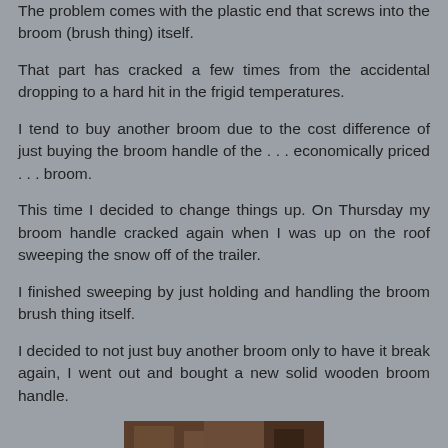The problem comes with the plastic end that screws into the broom (brush thing) itself.
That part has cracked a few times from the accidental dropping to a hard hit in the frigid temperatures.
I tend to buy another broom due to the cost difference of just buying the broom handle of the . . . economically priced . . . broom.
This time I decided to change things up. On Thursday my broom handle cracked again when I was up on the roof sweeping the snow off of the trailer.
I finished sweeping by just holding and handling the broom brush thing itself.
I decided to not just buy another broom only to have it break again, I went out and bought a new solid wooden broom handle.
[Figure (photo): Partial photo of a wooden broom handle, dark background]